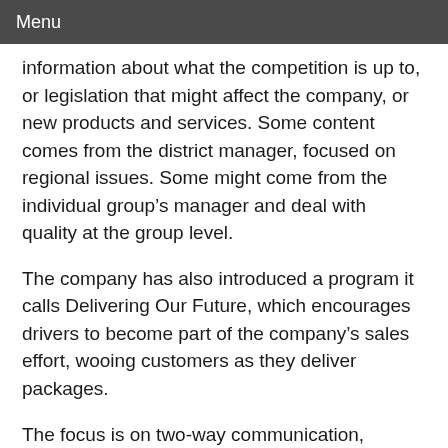Menu
information about what the competition is up to, or legislation that might affect the company, or new products and services. Some content comes from the district manager, focused on regional issues. Some might come from the individual group's manager and deal with quality at the group level.
The company has also introduced a program it calls Delivering Our Future, which encourages drivers to become part of the company's sales effort, wooing customers as they deliver packages.
The focus is on two-way communication, Sternad says. “We have what may be the biggest employee survey in corporate America,” he says. “We survey all our employees, and we get an 80 percent response rate